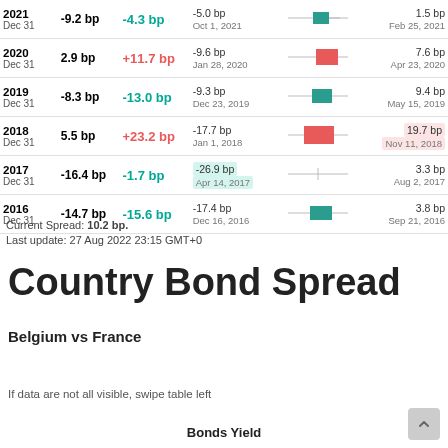| Year | Spread | Change | Min (Date) | Chart | Max (Date) |
| --- | --- | --- | --- | --- | --- |
| 2021 Dec 31 | -9.2 bp | -4.3 bp | -5.0 bp Oct 1, 2021 |  | 1.5 bp Feb 25, 2021 |
| 2020 Dec 31 | 2.9 bp | +11.7 bp | -9.6 bp Jan 28, 2020 |  | 7.6 bp Apr 23, 2020 |
| 2019 Dec 31 | -8.3 bp | -13.0 bp | -9.3 bp Dec 23, 2019 |  | 9.4 bp May 15, 2019 |
| 2018 Dec 31 | 5.5 bp | +23.2 bp | -17.7 bp Jan 1, 2018 |  | 19.7 bp Nov 11, 2018 |
| 2017 Dec 31 | -16.4 bp | -1.7 bp | -26.9 bp Apr 14, 2017 |  | 3.3 bp Aug 2, 2017 |
| 2016 Dec 31 | -14.7 bp | -15.6 bp | -17.4 bp Dec 16, 2016 |  | 3.8 bp Sep 21, 2016 |
Current Spread: 10.2 bp.
Last update: 27 Aug 2022 23:15 GMT+0
Country Bond Spread
Belgium vs France
If data are not all visible, swipe table left
Bonds Yield